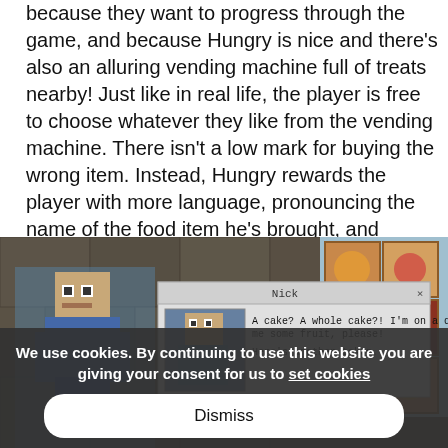because they want to progress through the game, and because Hungry is nice and there's also an alluring vending machine full of treats nearby! Just like in real life, the player is free to choose whatever they like from the vending machine. There isn't a low mark for buying the wrong item. Instead, Hungry rewards the player with more language, pronouncing the name of the food item he's brought, and sending the player back to try again.
[Figure (screenshot): Screenshot of a Minecraft-style game showing a dialog box with character 'Nick' saying 'A cake? A whole cake?! I'm on a diet! Bring me some fruit, please! Here's another token.' with a vending machine visible in the background.]
We use cookies. By continuing to use this website you are giving your consent for us to set cookies
Dismiss